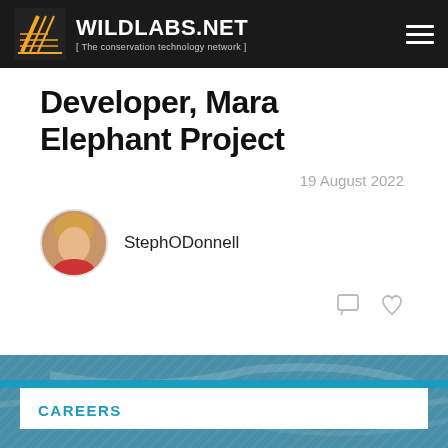WILDLABS.NET [ The conservation technology network ]
Developer, Mara Elephant Project
19 August 2022
StephODonnell
CAREERS